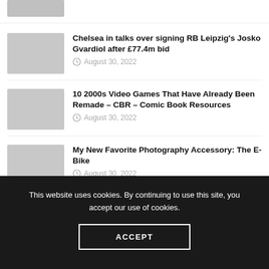Chelsea in talks over signing RB Leipzig's Josko Gvardiol after £77.4m bid — August 30, 2022
10 2000s Video Games That Have Already Been Remade – CBR – Comic Book Resources — August 30, 2022
My New Favorite Photography Accessory: The E-Bike — August 30, 2022
Has Godolphin Lived Up to Expectations in 2022? — August 30, 2022
This website uses cookies. By continuing to use this site, you accept our use of cookies.
ACCEPT